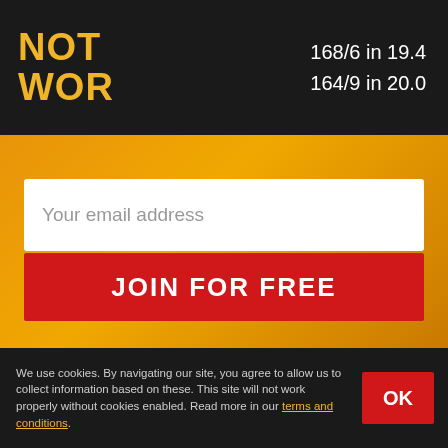NOT WOR  168/6 in 19.4  164/9 in 20.0
Your email address
JOIN FOR FREE
HOME
About
BETTING SITES
Contact
We use cookies. By navigating our site, you agree to allow us to collect information based on these. This site will not work properly without cookies enabled. Read more in our terms and conditions.
OK